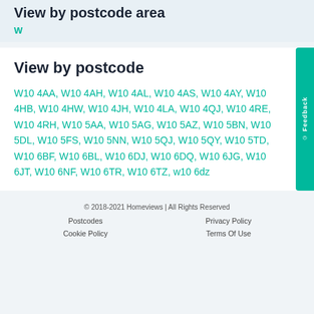View by postcode area
W
View by postcode
W10 4AA, W10 4AH, W10 4AL, W10 4AS, W10 4AY, W10 4HB, W10 4HW, W10 4JH, W10 4LA, W10 4QJ, W10 4RE, W10 4RH, W10 5AA, W10 5AG, W10 5AZ, W10 5BN, W10 5DL, W10 5FS, W10 5NN, W10 5QJ, W10 5QY, W10 5TD, W10 6BF, W10 6BL, W10 6DJ, W10 6DQ, W10 6JG, W10 6JT, W10 6NF, W10 6TR, W10 6TZ, w10 6dz
© 2018-2021 Homeviews | All Rights Reserved | Postcodes | Privacy Policy | Cookie Policy | Terms Of Use